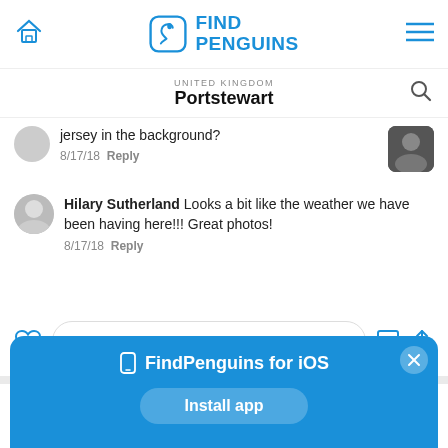[Figure (screenshot): FindPenguins app header with home icon, logo, and hamburger menu]
UNITED KINGDOM
Portstewart
jersey in the background?
8/17/18  Reply
Hilary Sutherland  Looks a bit like the weather we have been having here!!! Great photos!
8/17/18  Reply
Leave a comment…
Mi-Ka
Nord-Irland >
FindPenguins for iOS
Install app